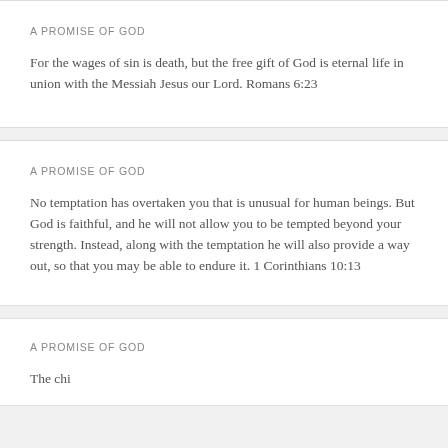A PROMISE OF GOD
For the wages of sin is death, but the free gift of God is eternal life in union with the Messiah Jesus our Lord. Romans 6:23
A PROMISE OF GOD
No temptation has overtaken you that is unusual for human beings. But God is faithful, and he will not allow you to be tempted beyond your strength. Instead, along with the temptation he will also provide a way out, so that you may be able to endure it. 1 Corinthians 10:13
A PROMISE OF GOD
The chief…